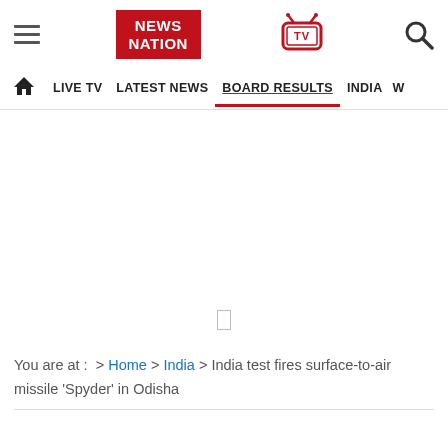NEWS NATION | LIVE TV | LATEST NEWS | BOARD RESULTS | INDIA
[Figure (screenshot): White/blank content area (advertisement placeholder)]
You are at :  >  Home  >  India  >  India test fires surface-to-air missile 'Spyder' in Odisha